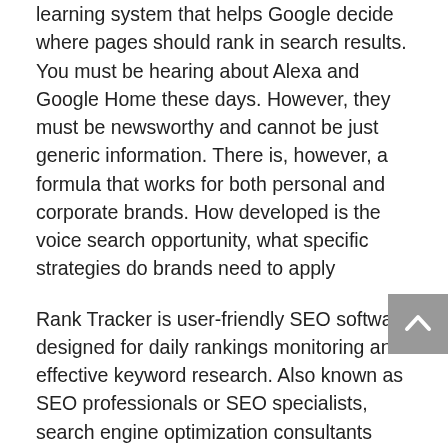learning system that helps Google decide where pages should rank in search results. You must be hearing about Alexa and Google Home these days. However, they must be newsworthy and cannot be just generic information. There is, however, a formula that works for both personal and corporate brands. How developed is the voice search opportunity, what specific strategies do brands need to apply
Rank Tracker is user-friendly SEO software designed for daily rankings monitoring and effective keyword research. Also known as SEO professionals or SEO specialists, search engine optimization consultants analyze a website's Position and Keyword strength and offer solutions for improvement. In my case, the Home Depot location was at position 8. I hope you're somewhere within the first set of 20 results Google typically produce but if not, there's no need to the and